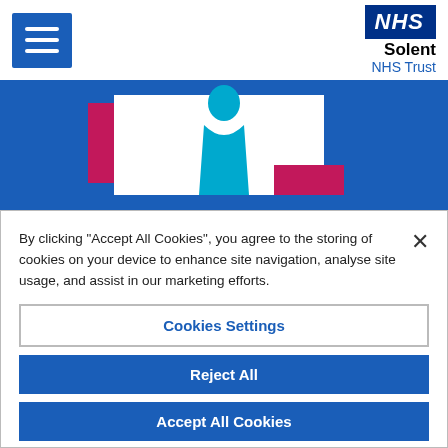[Figure (logo): NHS Solent NHS Trust logo with menu/hamburger button on left and NHS blue badge with Solent NHS Trust text on right]
[Figure (illustration): NHS Solent website hero banner — blue background with stylized white card, pink/magenta geometric shapes, and cyan silhouette figure]
By clicking "Accept All Cookies", you agree to the storing of cookies on your device to enhance site navigation, analyse site usage, and assist in our marketing efforts.
Cookies Settings
Reject All
Accept All Cookies